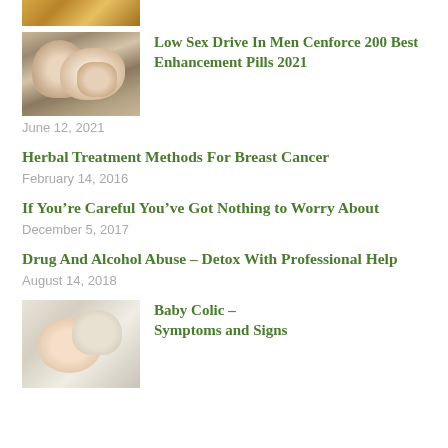[Figure (photo): Partial image of food at top of page]
[Figure (photo): Couple lying together, smiling]
Low Sex Drive In Men Cenforce 200 Best Enhancement Pills 2021
June 12, 2021
Herbal Treatment Methods For Breast Cancer
February 14, 2016
If You’re Careful You’ve Got Nothing to Worry About
December 5, 2017
Drug And Alcohol Abuse – Detox With Professional Help
August 14, 2018
[Figure (photo): Baby image, partially visible at bottom]
Baby Colic – Symptoms and Signs